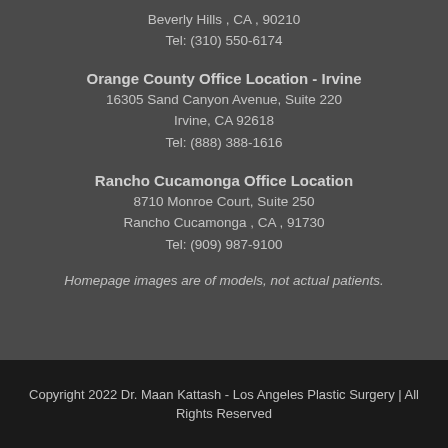Beverly Hills , CA , 90210
Tel: (310) 550-6174
Orange County Office Location - Irvine
16305 Sand Canyon Avenue, Suite 220
Irvine, CA 92618
Tel: (888) 388-1616
Rancho Cucamonga Office Location
8710 Monroe Court, Suite 250
Rancho Cucamonga , CA , 91730
Tel: (909) 987-9100
Homepage images are of models, not actual patients.
Copyright 2022 Dr. Maan Kattash - Los Angeles Plastic Surgery | All Rights Reserved